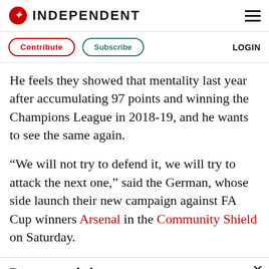INDEPENDENT
Contribute  Subscribe  LOGIN
He feels they showed that mentality last year after accumulating 97 points and winning the Champions League in 2018-19, and he wants to see the same again.
“We will not try to defend it, we will try to attack the next one,” said the German, whose side launch their new campaign against FA Cup winners Arsenal in the Community Shield on Saturday.
Recommended